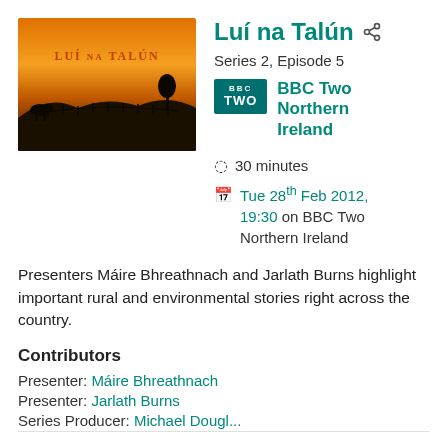[Figure (illustration): Show artwork for Luí na Talún — orange/amber sunset sky with silhouetted cattle and trees on a hillside, with the show title 'Luí na Talún' in dark red serif text overlay]
Luí na Talún
Series 2, Episode 5
BBC Two Northern Ireland
30 minutes
Tue 28th Feb 2012, 19:30 on BBC Two Northern Ireland
Presenters Máire Bhreathnach and Jarlath Burns highlight important rural and environmental stories right across the country.
Contributors
Presenter:  Máire Bhreathnach
Presenter:  Jarlath Burns
Series Producer: Michael Dougl...